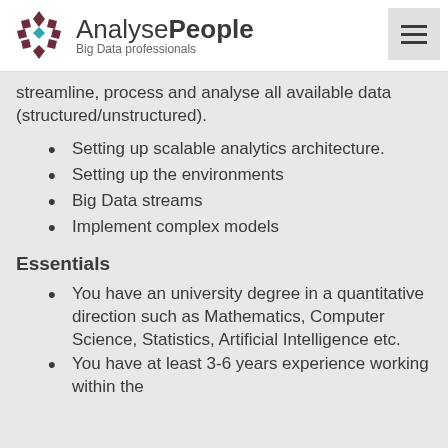AnalysePeople — Big Data professionals
streamline, process and analyse all available data (structured/unstructured).
Setting up scalable analytics architecture.
Setting up the environments
Big Data streams
Implement complex models
Essentials
You have an university degree in a quantitative direction such as Mathematics, Computer Science, Statistics, Artificial Intelligence etc.
You have at least 3-6 years experience working within the